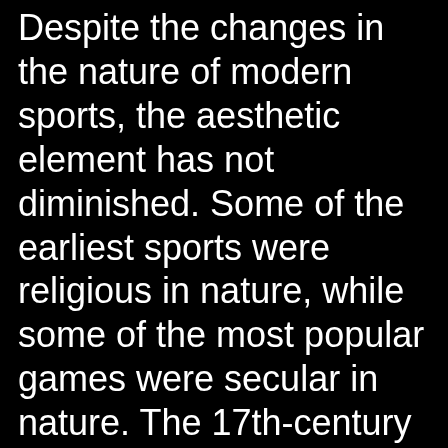Despite the changes in the nature of modern sports, the aesthetic element has not diminished. Some of the earliest sports were religious in nature, while some of the most popular games were secular in nature. The 17th-century Czech educator John Amos Comenius advocated physical education. In contrast, the elites of the 15th-16th centuries preferred dances, which were characterized by geometric patterns. The development of ballet during this time was marked by the development of sport. French and Italian fencing masters thought of their sport as an art form.